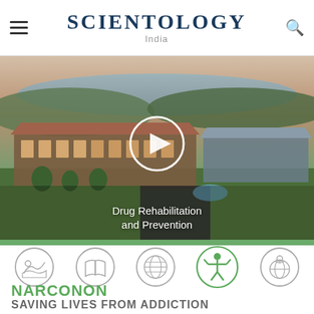SCIENTOLOGY India
[Figure (screenshot): Aerial photo of a large resort-style building with red roofs next to a lake, shown at dusk/evening. A circular play button overlay is visible in the center, indicating a video player. Text overlay reads 'Drug Rehabilitation and Prevention'.]
Drug Rehabilitation and Prevention
[Figure (infographic): Row of five circular icon buttons: landscape/nature icon, open book icon, world map icon, Narconon person icon (highlighted in green), and a globe with person icon.]
NARCONON
SAVING LIVES FROM ADDICTION